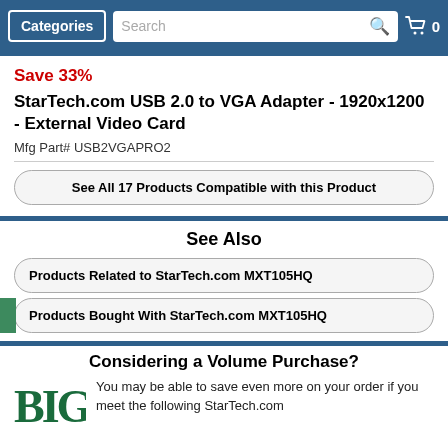Categories | Search | Cart 0
Save 33%
StarTech.com USB 2.0 to VGA Adapter - 1920x1200 - External Video Card
Mfg Part# USB2VGAPRO2
See All 17 Products Compatible with this Product
See Also
Products Related to StarTech.com MXT105HQ
Products Bought With StarTech.com MXT105HQ
Considering a Volume Purchase?
You may be able to save even more on your order if you meet the following StarTech.com